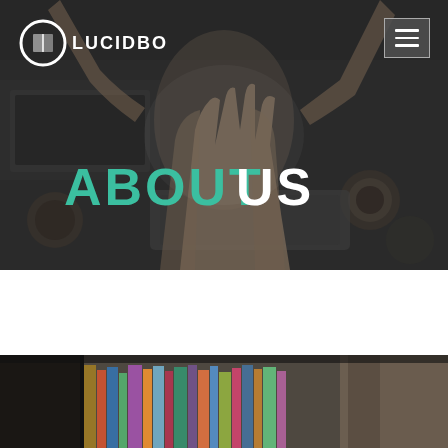[Figure (photo): Dark overhead photo of people reaching hands into center of a table with laptops and coffee cups, used as hero background]
[Figure (logo): Lucidbooks logo: white circular icon with open book symbol and text LUCIDBOOKS in white capital letters]
[Figure (other): Hamburger menu button (three white horizontal lines on dark background)]
ABOUT US
[Figure (photo): Bottom partial photo showing a bookshelf with colorful books and a person partially visible on the right, blurred background]